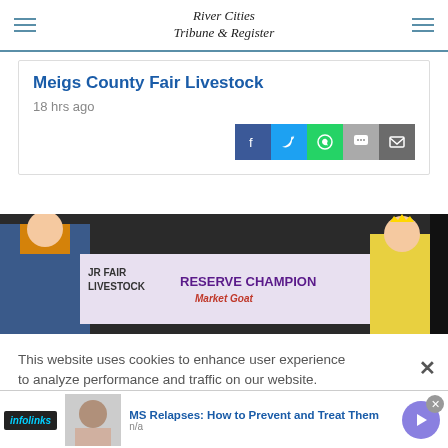River Cities Tribune & Register
Meigs County Fair Livestock
18 hrs ago
[Figure (screenshot): Social share buttons: Facebook (blue), Twitter (light blue), WhatsApp (green), comment (grey), email (dark grey)]
[Figure (photo): Photo of people at Meigs County Fair holding a 'JR Fair Livestock Reserve Champion Market Goat' banner, one person in a tiara on the right]
This website uses cookies to enhance user experience to analyze performance and traffic on our website.
[Figure (infographic): Infolinks ad bar with MS Relapses: How to Prevent and Treat Them advertisement, woman photo thumbnail, blue play/arrow button circle]
MS Relapses: How to Prevent and Treat Them
n/a